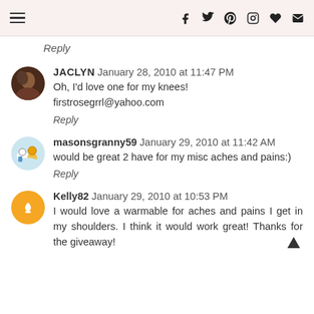Navigation bar with menu icon and social icons: f, twitter, pinterest, instagram, heart, mail
Reply
JACLYN  January 28, 2010 at 11:47 PM
Oh, I'd love one for my knees!
firstrosegrrl@yahoo.com
Reply
masonsgranny59  January 29, 2010 at 11:42 AM
would be great 2 have for my misc aches and pains:)
Reply
Kelly82  January 29, 2010 at 10:53 PM
I would love a warmable for aches and pains I get in my shoulders. I think it would work great! Thanks for the giveaway!